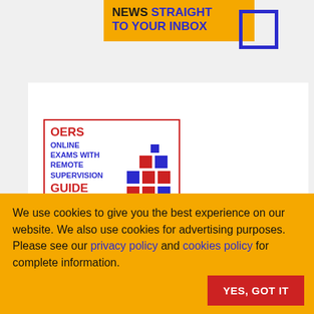[Figure (logo): Yellow banner with bold text 'NEWS STRAIGHT TO YOUR INBOX' and blue border accent]
Related Links
[Figure (illustration): OERS card: OERS Online Exams with Remote Supervision Guide, with red and blue grid logo]
We use cookies to give you the best experience on our website. We also use cookies for advertising purposes. Please see our privacy policy and cookies policy for complete information.